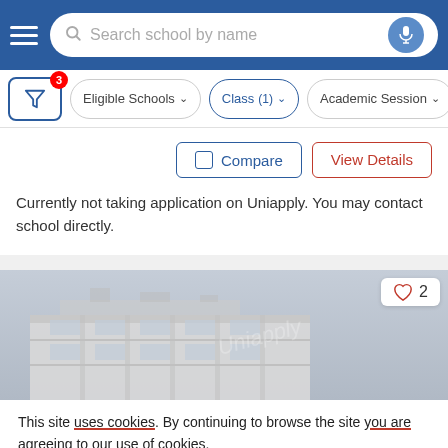Search school by name
Eligible Schools | Class (1) | Academic Session
Compare   View Details
Currently not taking application on Uniapply. You may contact school directly.
[Figure (photo): Exterior photo of a school building with a grey sky background. A heart/like icon with count 2 is shown in the top-right corner.]
This site uses cookies. By continuing to browse the site you are agreeing to our use of cookies.
This will help to provide better user experience.
Ok, I Understand